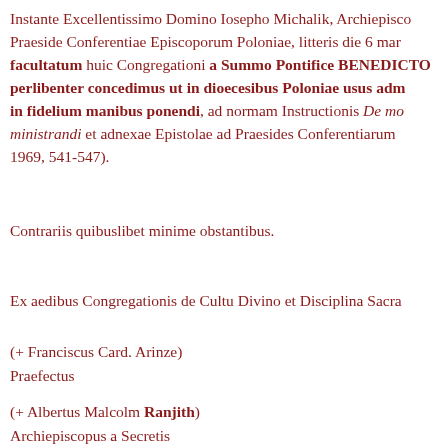Instante Excellentissimo Domino Iosepho Michalik, Archiepiscopus Praeside Conferentiae Episcoporum Poloniae, litteris die 6 mar facultatum huic Congregationi a Summo Pontifice BENEDICT perlibenter concedimus ut in dioecesibus Poloniae usus adm in fidelium manibus ponendi, ad normam Instructionis De mo ministrandi et adnexae Epistolae ad Praesides Conferentiarum 1969, 541-547).
Contrariis quibuslibet minime obstantibus.
Ex aedibus Congregationis de Cultu Divino et Disciplina Sacra
(+ Franciscus Card. Arinze)
Praefectus
(+ Albertus Malcolm Ranjith)
Archiepiscopus a Secretis